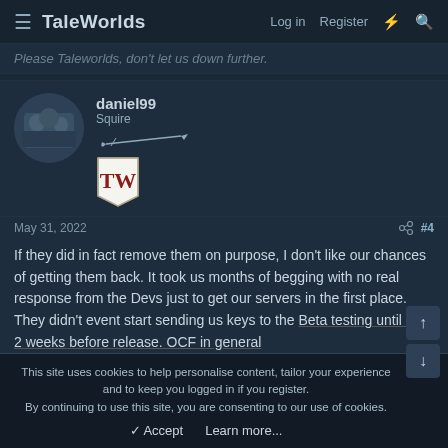TaleWorlds — Log in Register
Please Taleworlds, don't let us down further.
daniel99
Squire
May 31, 2022  #4
If they did in fact remove them on purpose, I don't like our chances of getting them back. It took us months of begging with no real response from the Devs just to get our servers in the first place. They didn't event start sending us keys to the Beta testing until like 2 weeks before release. OCF in general
This site uses cookies to help personalise content, tailor your experience and to keep you logged in if you register.
By continuing to use this site, you are consenting to our use of cookies.
✓ Accept   Learn more...